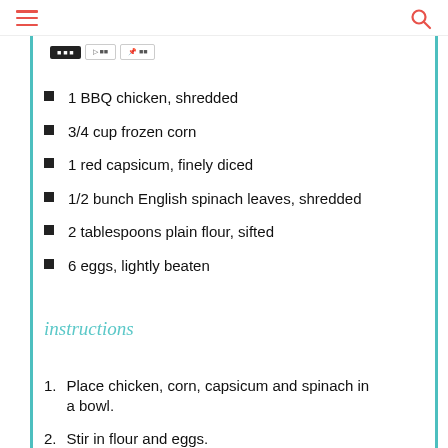[Figure (other): Share/social buttons: dark button and two outline buttons]
1 BBQ chicken, shredded
3/4 cup frozen corn
1 red capsicum, finely diced
1/2 bunch English spinach leaves, shredded
2 tablespoons plain flour, sifted
6 eggs, lightly beaten
instructions
1. Place chicken, corn, capsicum and spinach in a bowl.
2. Stir in flour and eggs.